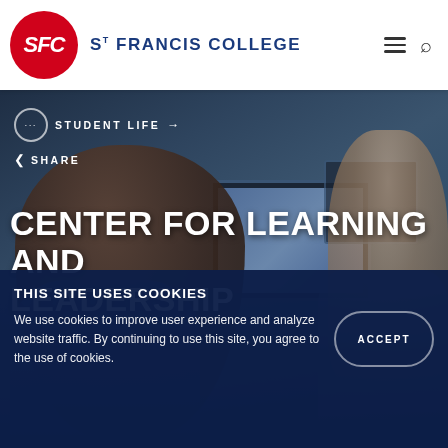St Francis College
[Figure (photo): Students in a computer lab at St. Francis College. A female student in the foreground looking toward monitors, another student visible in the background to the right.]
... STUDENT LIFE →
< SHARE
CENTER FOR LEARNING AND LEADERSHIP
THIS SITE USES COOKIES
We use cookies to improve user experience and analyze website traffic. By continuing to use this site, you agree to the use of cookies.
ACCEPT